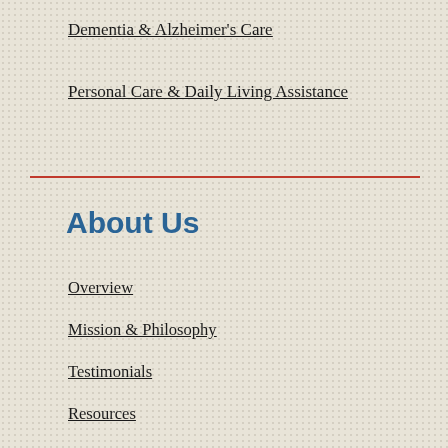Dementia & Alzheimer's Care
Personal Care & Daily Living Assistance
About Us
Overview
Mission & Philosophy
Testimonials
Resources
Blog
Locations
Franchise Opportunities
Sitemap